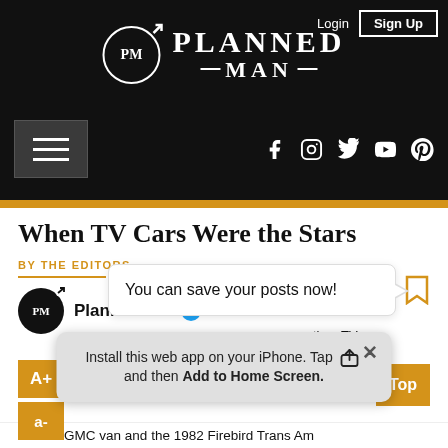Login  Sign Up
[Figure (logo): Planned Man logo with PM circle and arrow, white text on black background]
[Figure (infographic): Hamburger menu button (left) and social media icons: Facebook, Instagram, Twitter, YouTube, Pinterest (right) on black background]
When TV Cars Were the Stars
BY THE EDITORS
PlannedMan (verified)
You can save your posts now!
Install this web app on your iPhone. Tap [share icon] and then Add to Home Screen.
Team's GMC van and the 1982 Firebird Trans Am